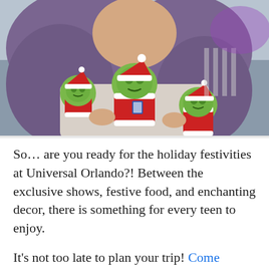[Figure (photo): A young woman with long purple/lavender hair holds multiple Grinch character stuffed plush toys dressed in red and white Santa outfits, photographed outdoors at what appears to be Universal Orlando.]
So… are you ready for the holiday festivities at Universal Orlando?! Between the exclusive shows, festive food, and enchanting decor, there is something for every teen to enjoy.
It's not too late to plan your trip! Come